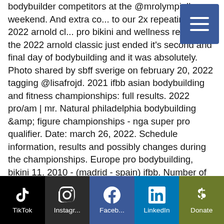bodybuilder competitors at the @mrolympiallc weekend. And extra co... to our 2x repeating ms. 2022 arnold cl... pro bikini and wellness results…the 2022 arnold classic just ended it's second and final day of bodybuilding and it was absolutely. Photo shared by sbff sverige on february 20, 2022 tagging @lisafrojd. 2021 ifbb asian bodybuilding and fitness championships: full results. 2022 pro/am | mr. Natural philadelphia bodybuilding &amp; figure championships - nga super pro qualifier. Date: march 26, 2022. Schedule information, results and possibly changes during the championships. Europe pro bodybuilding, bikini 11. 2010 - (madrid - spain) ifbb. Number of contestants - 0, number of categories together - 0. The results have not yet. Most notably, first prize in bodybuilding
[Figure (other): Hamburger menu button (three horizontal white lines on a blue-grey square background), positioned top-right of the page.]
TikTok | Instagram | Facebook | LinkedIn | Donate